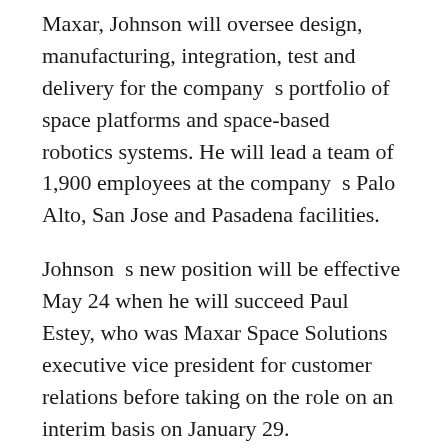Maxar, Johnson will oversee design, manufacturing, integration, test and delivery for the company’s portfolio of space platforms and space-based robotics systems. He will lead a team of 1,900 employees at the company’s Palo Alto, San Jose and Pasadena facilities.
Johnson’s new position will be effective May 24 when he will succeed Paul Estey, who was Maxar Space Solutions executive vice president for customer relations before taking on the role on an interim basis on January 29.
Speaking about the new role, Dan Jablonsky, CEO of Maxar, said: “We are exceptionally pleased to have a leader of Chris’s calibre join Maxar’s executive leadership team and take on this critical role. His track record of performance and deep